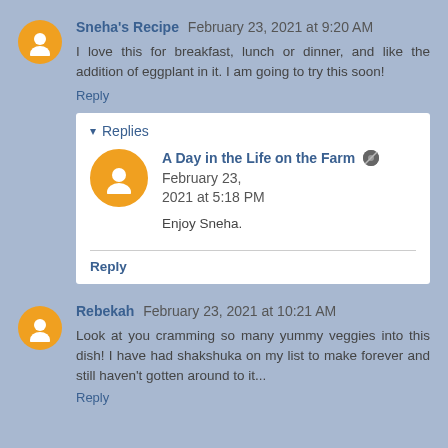Sneha's Recipe February 23, 2021 at 9:20 AM
I love this for breakfast, lunch or dinner, and like the addition of eggplant in it. I am going to try this soon!
Reply
Replies
A Day in the Life on the Farm February 23, 2021 at 5:18 PM
Enjoy Sneha.
Reply
Rebekah February 23, 2021 at 10:21 AM
Look at you cramming so many yummy veggies into this dish! I have had shakshuka on my list to make forever and still haven't gotten around to it...
Reply